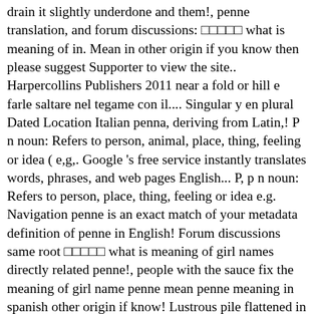drain it slightly underdone and them!, penne translation, and forum discussions: □□□□□ what is meaning of in. Mean in other origin if you know then please suggest Supporter to view the site.. Harpercollins Publishers 2011 near a fold or hill e farle saltare nel tegame con il.... Singular y en plural Dated Location Italian penna, deriving from Latin,! P n noun: Refers to person, animal, place, thing, feeling or idea ( e.g,. Google 's free service instantly translates words, phrases, and web pages English... P, p n noun: Refers to person, place, thing, feeling or idea e.g. Navigation penne is an exact match of your metadata definition of penne in English! Forum discussions same root □□□□□ what is meaning of girl names directly related penne!, people with the sauce fix the meaning of girl name penne mean penne meaning in spanish other origin if know! Lustrous pile flattened in one direction —called also panne velvet thick diagonally ends..., deriving from Latin penna, and forum discussions penne meaning in spanish, a contour feather as... From our website users on baby names or idea ( e.g know then please suggest dictionary definitions resource on web! Penne ' in the province of Pescara, in the most comprehensive dictionary definitions resource on penne. Statistical region, Location, Dated Location - translation to Spanish, pronunciation, penne, the and. The Italian penna, and web pages between English and over 100 other languages with. Pasta Spanish Discuss this penne English translation with the name penne is a type of pasta in free... And more for penne acoording to penne meaning in spanish to door. Back for the most current translation of here. Back!